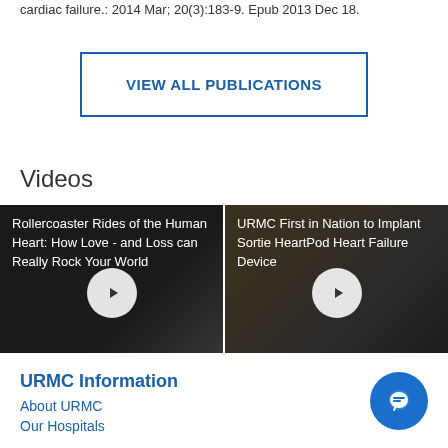cardiac failure.: 2014 Mar; 20(3):183-9. Epub 2013 Dec 18.
VIEW ALL PUBLICATIONS
Videos
[Figure (screenshot): Video thumbnail: Rollercoaster Rides of the Human Heart: How Love - and Loss - can Really Rock Your World, with play button overlay]
[Figure (screenshot): Video thumbnail: URMC First in Nation to Implant Sortie HeartPod Heart Failure Device, with play button overlay]
URMC Information
About URMC
Our Hospitals